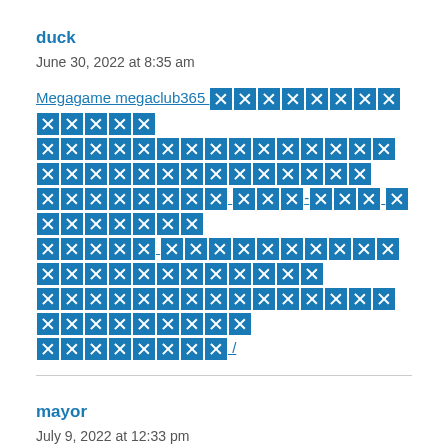duck
June 30, 2022 at 8:35 am
Megagame megaclub365 [replaced characters link]
mayor
July 9, 2022 at 12:33 pm
love